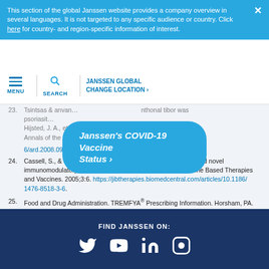This section of the global Janssen website provides a company overview in several languages. It is not targeted to any specific audience or country. Click here for country- and region-specific information of interest.
[Figure (screenshot): Janssen website navigation bar with hamburger menu, search icon, and JANSSEN GLOBAL / CHANGE LOCATION links]
[Figure (other): Janssen's COVID-19 Vaccine Status button/badge in blue rounded rectangle]
23. [partial/faded reference text]
24. Cassell, S., & Kavanaugh, A. Psoriatic arthritis: Pathogenesis and novel immunomodulatory approaches to treatment. Journal of Immune Based Therapies and Vaccines. 2005;3:6. https://jibtherapies.biomedcentral.com/articles/10.1186/1476-8518-3-6.
25. Food and Drug Administration. TREMFYA® Prescribing Information. Horsham, PA. 2017. Available at: https://www.janssenlabels.com/package-insert/product-monograph/prescribing-information/TREMFYA-pi.pdf. Accessed May 2022.
FIND JANSSEN ON: